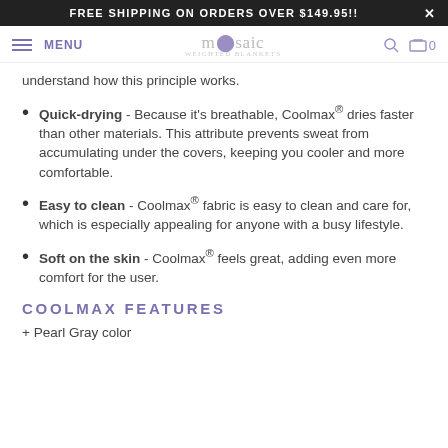FREE SHIPPING ON ORDERS OVER $149.95!!
mosaic WEIGHTED BLANKETS MENU
understand how this principle works.
Quick-drying - Because it's breathable, Coolmax® dries faster than other materials. This attribute prevents sweat from accumulating under the covers, keeping you cooler and more comfortable.
Easy to clean - Coolmax® fabric is easy to clean and care for, which is especially appealing for anyone with a busy lifestyle.
Soft on the skin - Coolmax® feels great, adding even more comfort for the user.
COOLMAX FEATURES
+ Pearl Gray color